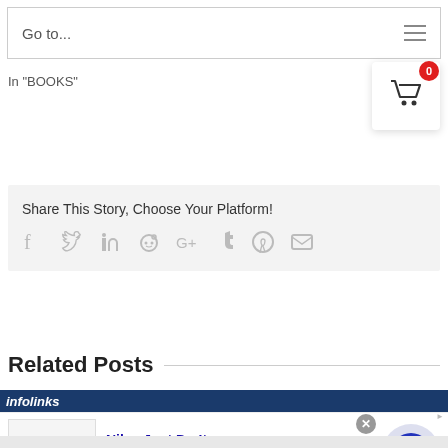Go to...
In "BOOKS"
[Figure (other): Shopping cart icon with red notification badge]
Share This Story, Choose Your Platform!
[Figure (other): Social sharing icons: Facebook, Twitter, LinkedIn, Reddit, Google+, Tumblr, Pinterest, Email]
Related Posts
[Figure (other): Infolinks advertisement banner showing Nike. Just Do It. Inspiring the world's athletes, Nike delivers the deals. www.nike.com]
Nike. Just Do It
Inspiring the world's athletes, Nike delivers the deals
www.nike.com